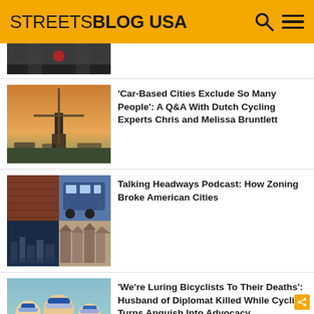STREETSBLOG USA
[Figure (photo): Partial thumbnail at top, cropped — appears to show a traffic light or street scene]
[Figure (photo): Windmill and bicycles in the Netherlands (Dutch city scene at sunset)]
'Car-Based Cities Exclude So Many People': A Q&A With Dutch Cycling Experts Chris and Melissa Bruntlett
[Figure (photo): Collage: brick building, blue bus, Talking Headways podcast logo, city skyline at night, row houses]
Talking Headways Podcast: How Zoning Broke American Cities
[Figure (photo): Family photo: woman with two children wearing goggles, outdoors]
'We're Luring Bicyclists To Their Deaths': Husband of Diplomat Killed While Cycling Turns Anguish Into Advocacy